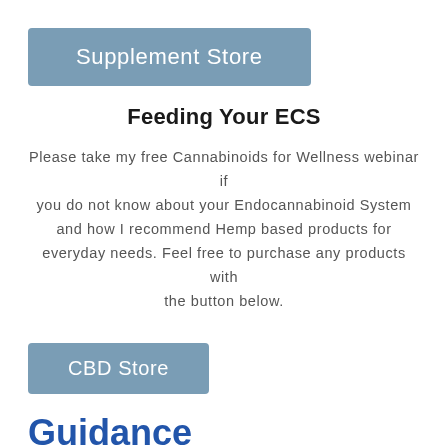[Figure (other): Button labeled 'Supplement Store' with a steel blue background and white text]
Feeding Your ECS
Please take my free Cannabinoids for Wellness webinar if you do not know about your Endocannabinoid System and how I recommend Hemp based products for everyday needs. Feel free to purchase any products with the button below.
[Figure (other): Button labeled 'CBD Store' with a steel blue background and white text]
Guidance
Here is a Master List of my Current offerings. To